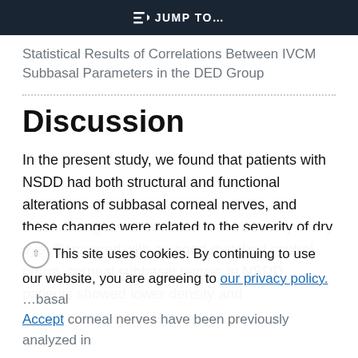≡D JUMP TO…
Statistical Results of Correlations Between IVCM Subbasal Parameters in the DED Group
Discussion
In the present study, we found that patients with NSDD had both structural and functional alterations of subbasal corneal nerves, and these changes were related to the severity of dry eye. Compared with an aged-matched control group, corneal subbasal nerves in NSDD patients showed lower density and
This site uses cookies. By continuing to use our website, you are agreeing to our privacy policy. Accept